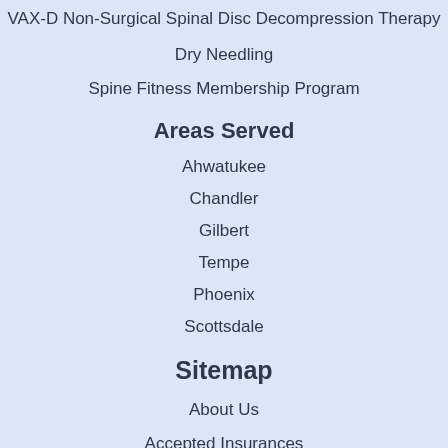VAX-D Non-Surgical Spinal Disc Decompression Therapy
Dry Needling
Spine Fitness Membership Program
Areas Served
Ahwatukee
Chandler
Gilbert
Tempe
Phoenix
Scottsdale
Sitemap
About Us
Accepted Insurances
Candace Raczkowski, PT, DPT